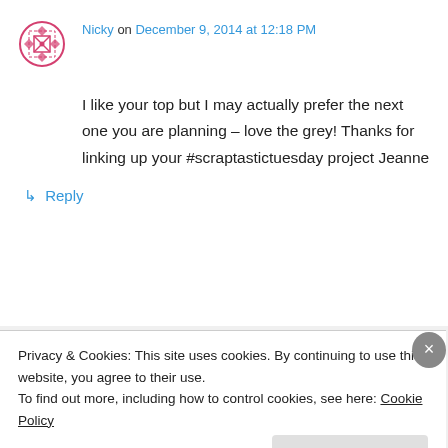Nicky on December 9, 2014 at 12:18 PM
I like your top but I may actually prefer the next one you are planning – love the grey! Thanks for linking up your #scraptastictuesday project Jeanne
↳ Reply
Grey Cat Quilts on December 9, 2014 at 7:21
Privacy & Cookies: This site uses cookies. By continuing to use this website, you agree to their use.
To find out more, including how to control cookies, see here: Cookie Policy
Close and accept